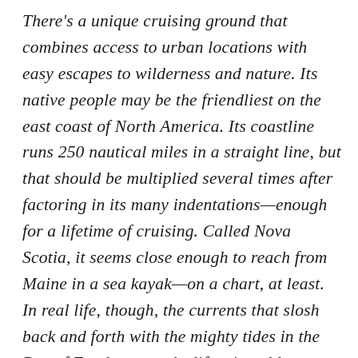There's a unique cruising ground that combines access to urban locations with easy escapes to wilderness and nature. Its native people may be the friendliest on the east coast of North America. Its coastline runs 250 nautical miles in a straight line, but that should be multiplied several times after factoring in its many indentations—enough for a lifetime of cruising. Called Nova Scotia, it seems close enough to reach from Maine in a sea kayak—on a chart, at least. In real life, though, the currents that slosh back and forth with the mighty tides in the Bay of Fundy can make life miserable, especially when the wind picks up. Off Cape Sable, the southwest corner of Nova Scotia, the going can